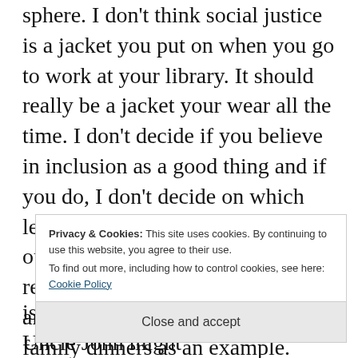sphere. I don't think social justice is a jacket you put on when you go to work at your library. It should really be a jacket your wear all the time. I don't decide if you believe in inclusion as a good thing and if you do, I don't decide on which level you like to carry that belief out in actions. But we all have a responsibility about these issues, anywhere, all the time. Let's take family dinners as an example. Ever tried to sit t...
Privacy & Cookies: This site uses cookies. By continuing to use this website, you agree to their use.
To find out more, including how to control cookies, see here: Cookie Policy
Close and accept
is fine with you Uncle John . Uncle John might